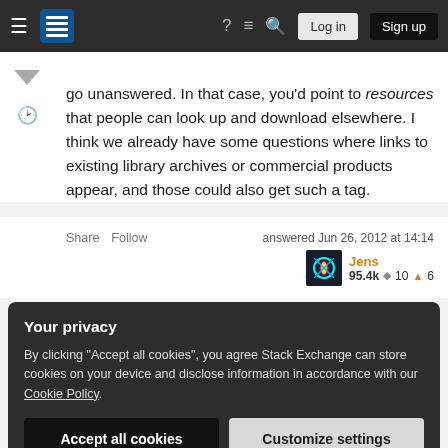Stack Exchange navigation bar with hamburger menu, logo, help, chat, search, Log in, Sign up
go unanswered. In that case, you'd point to resources that people can look up and download elsewhere. I think we already have some questions where links to existing library archives or commercial products appear, and those could also get such a tag.
Share   Follow   answered Jun 26, 2012 at 14:14   Jens   95.4k ◆10 ▲6
Your privacy
By clicking "Accept all cookies", you agree Stack Exchange can store cookies on your device and disclose information in accordance with our Cookie Policy.
Accept all cookies   Customize settings
interchangeably, given that they refer to distinct